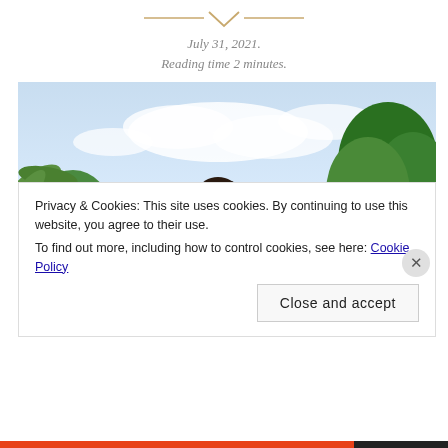July 31, 2021.
Reading time 2 minutes.
[Figure (photo): Young woman with dark hair in a ponytail, wearing a white jacket, looking back over her shoulder. Background shows palm trees, green trees, blue sky with clouds, and pink/orange buildings.]
Privacy & Cookies: This site uses cookies. By continuing to use this website, you agree to their use.
To find out more, including how to control cookies, see here: Cookie Policy
Close and accept